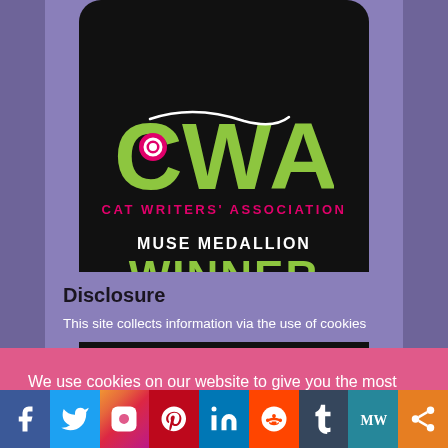[Figure (logo): Cat Writers' Association Muse Medallion Winner badge — black rounded rectangle with CWA in large green letters, a pink/white swirl on the O, CAT WRITERS' ASSOCIATION in pink, MUSE MEDALLION in white, WINNER in large green letters]
Disclosure
This site collects information via the use of cookies
We use cookies on our website to give you the most relevant experience by remembering your preferences and repeat visits. By clicking “Accept”, you consent to the use of ALL the cookies.